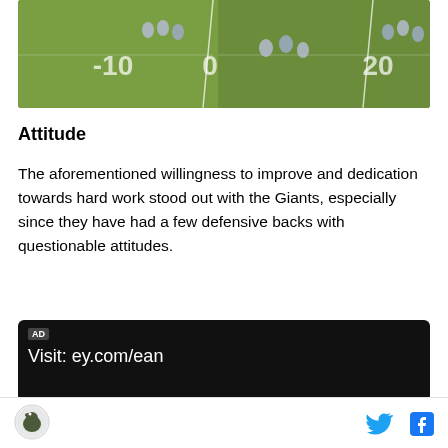[Figure (photo): Aerial view of an American football game in progress on a green field with yard markers (-10, 0, 20 visible), players positioned mid-play]
Attitude
The aforementioned willingness to improve and dedication towards hard work stood out with the Giants, especially since they have had a few defensive backs with questionable attitudes.
[Figure (other): Advertisement banner with dark background showing 'AD' label and text 'Visit: ey.com/ean']
Logo | Twitter | Facebook